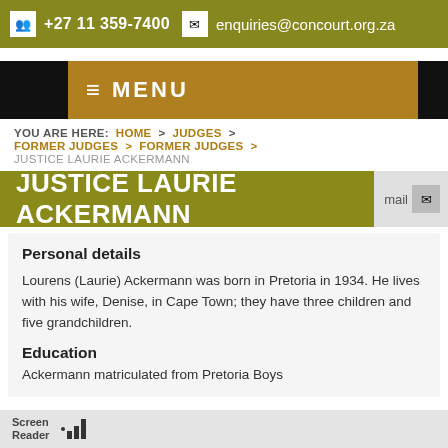+27 11 359-7400  enquiries@concourt.org.za
MENU
YOU ARE HERE:  HOME  >  JUDGES  >  FORMER JUDGES  >  FORMER JUDGES  >  JUSTICE LAURIE ACKERMANN
JUSTICE LAURIE ACKERMANN
Personal details
Lourens (Laurie) Ackermann was born in Pretoria in 1934. He lives with his wife, Denise, in Cape Town; they have three children and five grandchildren.
Education
Ackermann matriculated from Pretoria Boys...
Screen Reader